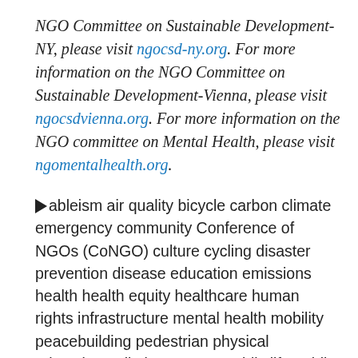NGO Committee on Sustainable Development-NY, please visit ngocsd-ny.org. For more information on the NGO Committee on Sustainable Development-Vienna, please visit ngocsdvienna.org. For more information on the NGO committee on Mental Health, please visit ngomentalhealth.org.
ableism air quality bicycle carbon climate emergency community Conference of NGOs (CoNGO) culture cycling disaster prevention disease education emissions health health equity healthcare human rights infrastructure mental health mobility peacebuilding pedestrian physical education pollution poverty public life public policy road safety roads SDGs security social equity social